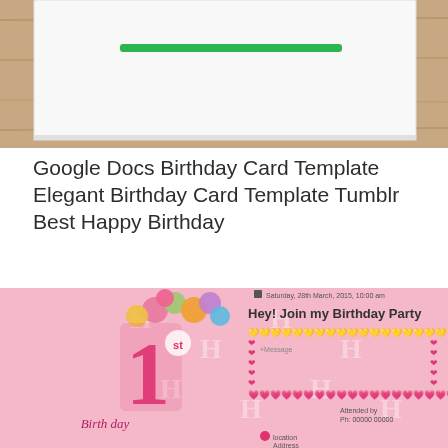[Figure (photo): A white birthday card with green underline decoration on a wooden surface background, partially cropped at top]
Google Docs Birthday Card Template Elegant Birthday Card Template Tumblr Best Happy Birthday
[Figure (photo): A pink first birthday party invitation card with a large pink number 1 decorated with balloons, text reading 'Hey! Join my Birthday Party', date Saturday 28th March 2015 10:00 am, heart border decoration, message field, and location/address fields]